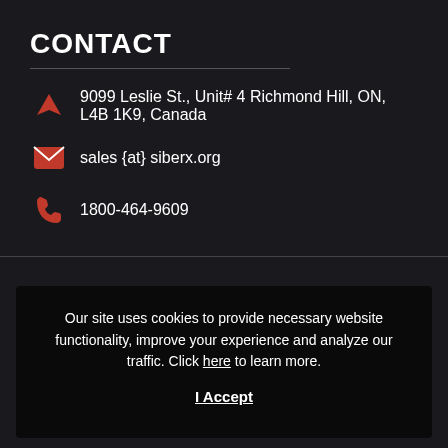CONTACT
9099 Leslie St., Unit# 4 Richmond Hill, ON, L4B 1K9, Canada
sales {at} siberx.org
1800-464-9609
Our site uses cookies to provide necessary website functionality, improve your experience and analyze our traffic. Click here to learn more.
I Accept